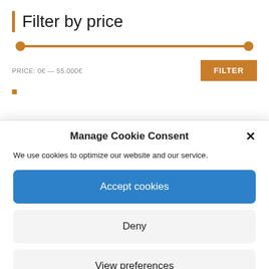Filter by price
[Figure (other): Price range slider from 0€ to 55.000€ with two orange circular handles at both ends of an orange track]
PRICE: 0€ — 55.000€
FILTER
Manage Cookie Consent
We use cookies to optimize our website and our service.
Accept cookies
Deny
View preferences